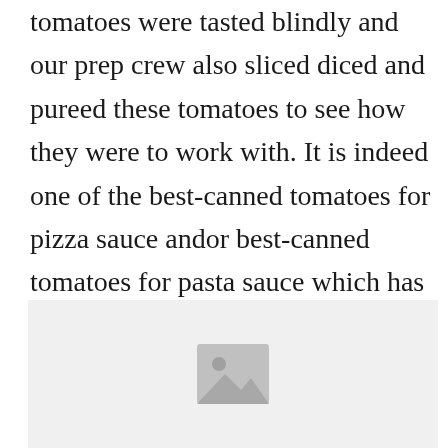tomatoes were tasted blindly and our prep crew also sliced diced and pureed these tomatoes to see how they were to work with. It is indeed one of the best-canned tomatoes for pizza sauce andor best-canned tomatoes for pasta sauce which has very less water content and more pulp content.
[Figure (photo): Placeholder image with a landscape/photo icon on a light grey background]